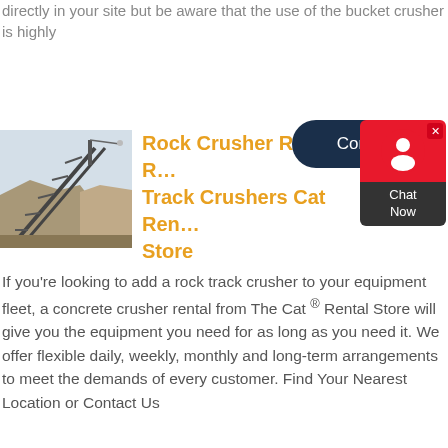directly in your site but be aware that the use of the bucket crusher is highly
[Figure (photo): Industrial conveyor belt structure at a quarry or mining site, with large rock piles in the background under a hazy sky.]
Rock Crusher Rentals R... Track Crushers Cat Ren... Store
If you're looking to add a rock track crusher to your equipment fleet, a concrete crusher rental from The Cat ® Rental Store will give you the equipment you need for as long as you need it. We offer flexible daily, weekly, monthly and long-term arrangements to meet the demands of every customer. Find Your Nearest Location or Contact Us